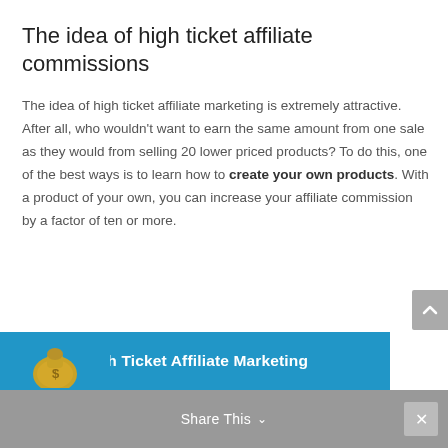The idea of high ticket affiliate commissions
The idea of high ticket affiliate marketing is extremely attractive. After all, who wouldn't want to earn the same amount from one sale as they would from selling 20 lower priced products? To do this, one of the best ways is to learn how to create your own products. With a product of your own, you can increase your affiliate commission by a factor of ten or more.
High Ticket Affiliate Marketing
Share This